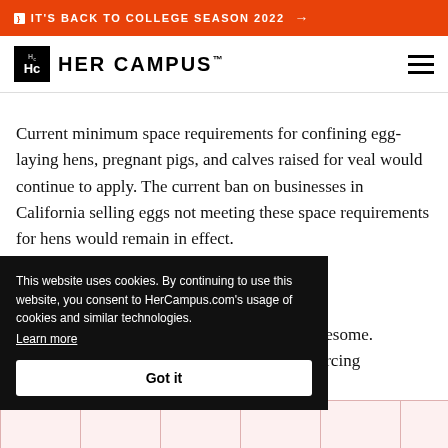IT'S BACK TO COLLEGE SEASON 2022 →
[Figure (logo): Her Campus logo with Hc box and HER CAMPUS text]
Current minimum space requirements for confining egg-laying hens, pregnant pigs, and calves raised for veal would continue to apply. The current ban on businesses in California selling eggs not meeting these space requirements for hens would remain in effect.
...ds great. I mean let's be ...ws and chickens? Awesome. ...terhouses and big industries ...n better. We're forcing
This website uses cookies. By continuing to use this website, you consent to HerCampus.com's usage of cookies and similar technologies. Learn more
Got it